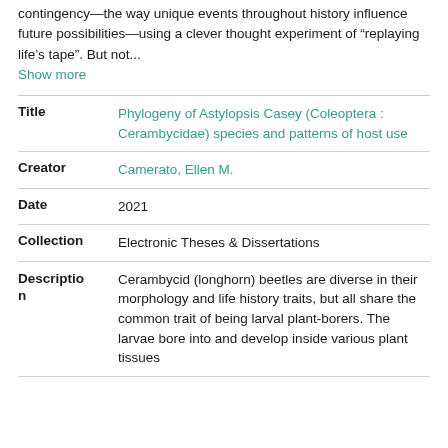contingency—the way unique events throughout history influence future possibilities—using a clever thought experiment of “replaying life’s tape”. But not...
Show more
| Field | Value |
| --- | --- |
| Title | Phylogeny of Astylopsis Casey (Coleoptera : Cerambycidae) species and patterns of host use |
| Creator | Camerato, Ellen M. |
| Date | 2021 |
| Collection | Electronic Theses & Dissertations |
| Description | Cerambycid (longhorn) beetles are diverse in their morphology and life history traits, but all share the common trait of being larval plant-borers. The larvae bore into and develop inside various plant tissues |